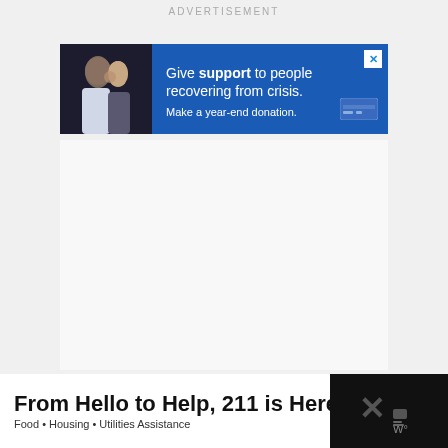ADVERTISEMENT
[Figure (infographic): Banner advertisement with image of two people embracing on left, blue background on right with text: Give support to people recovering from crisis. Make a year-end donation. Credit card icon. Close (X) button in top right corner.]
[Figure (infographic): Bottom banner advertisement on black background: From Hello to Help, 211 is Here. Food • Housing • Utilities Assistance. Close (X) button. Right side shows X icon and weather/app icon on dark background.]